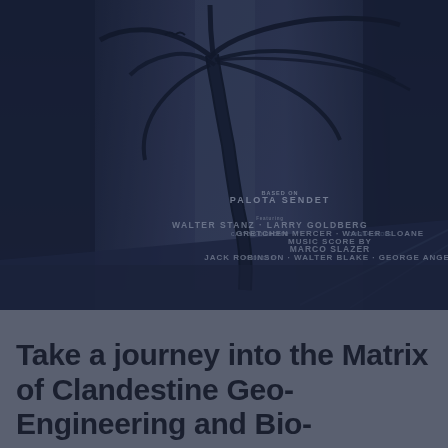[Figure (photo): A dark-toned image showing a palm tree silhouette against a dusky sky with urban/corridor background. Overlaid text credits are visible in the center-right area of the image, appearing to be movie credits or similar entertainment listing in small uppercase condensed font.]
Take a journey into the Matrix of Clandestine Geo-Engineering and Bio-